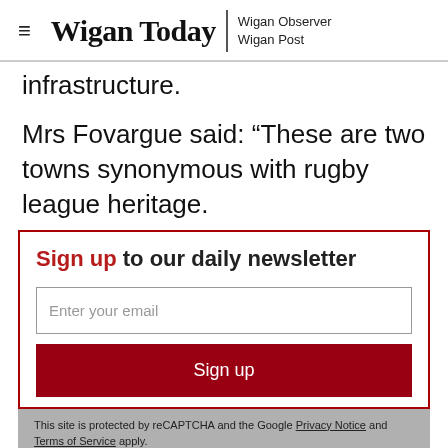Wigan Today | Wigan Observer Wigan Post
infrastructure.
Mrs Fovargue said: “These are two towns synonymous with rugby league heritage.
Sign up to our daily newsletter
Enter your email
Sign up
This site is protected by reCAPTCHA and the Google Privacy Notice and Terms of Service apply.